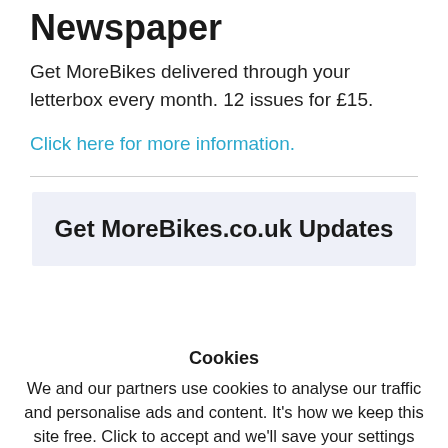Newspaper
Get MoreBikes delivered through your letterbox every month. 12 issues for £15.
Click here for more information.
Get MoreBikes.co.uk Updates
Cookies
We and our partners use cookies to analyse our traffic and personalise ads and content. It's how we keep this site free. Click to accept and we'll save your settings (you can always turn these off in your browser).
Privacy Policy  ACCEPT